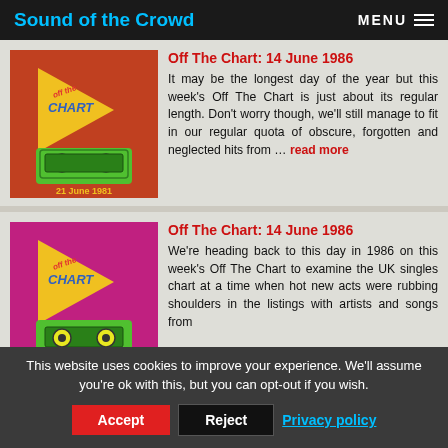Sound of the Crowd | MENU
[Figure (illustration): Off The Chart podcast thumbnail: red/orange background with yellow triangle logo, green cassette tape, text '21 June 1981']
Off The Chart: 14 June 1986
It may be the longest day of the year but this week's Off The Chart is just about its regular length. Don't worry though, we'll still manage to fit in our regular quota of obscure, forgotten and neglected hits from … read more
[Figure (illustration): Off The Chart podcast thumbnail: magenta/pink background with yellow triangle logo, green cassette tape]
Off The Chart: 14 June 1986
We're heading back to this day in 1986 on this week's Off The Chart to examine the UK singles chart at a time when hot new acts were rubbing shoulders in the listings with artists and songs from
This website uses cookies to improve your experience. We'll assume you're ok with this, but you can opt-out if you wish. Accept Reject Privacy policy